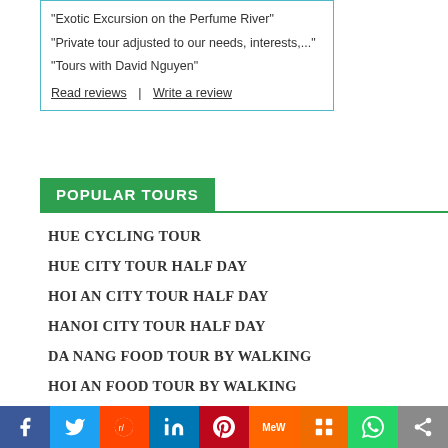“Exotic Excursion on the Perfume River”
“Private tour adjusted to our needs, interests,...”
“Tours with David Nguyen”
Read reviews | Write a review
POPULAR TOURS
HUE CYCLING TOUR
HUE CITY TOUR HALF DAY
HOI AN CITY TOUR HALF DAY
HANOI CITY TOUR HALF DAY
DA NANG FOOD TOUR BY WALKING
HOI AN FOOD TOUR BY WALKING
[Figure (other): Social sharing bar with icons for Facebook, Twitter, Reddit, LinkedIn, Pinterest, MeWe, Mix, WhatsApp, and Share]